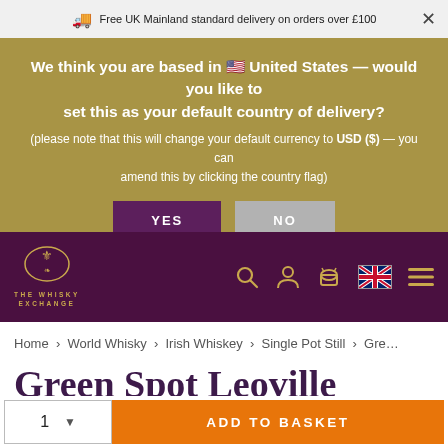Free UK Mainland standard delivery on orders over £100
We think you are based in 🇺🇸 United States — would you like to set this as your default country of delivery?
(please note that this will change your default currency to USD ($) — you can amend this by clicking the country flag)
YES | NO
[Figure (logo): The Whisky Exchange logo with decorative crest in gold on dark purple background]
Home > World Whisky > Irish Whiskey > Single Pot Still > Gre...
Green Spot Leoville Barton Bordeaux Finish
1  ADD TO BASKET